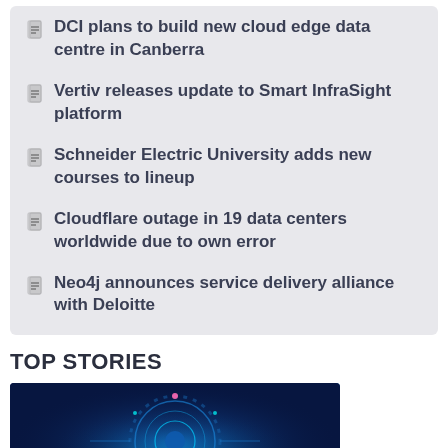DCI plans to build new cloud edge data centre in Canberra
Vertiv releases update to Smart InfraSight platform
Schneider Electric University adds new courses to lineup
Cloudflare outage in 19 data centers worldwide due to own error
Neo4j announces service delivery alliance with Deloitte
TOP STORIES
[Figure (photo): Blue digital/tech themed image with glowing circular elements and circuit patterns on dark blue background]